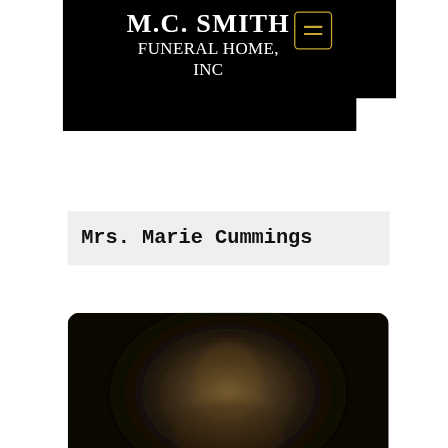M.C. SMITH FUNERAL HOME, INC
Mrs. Marie Cummings
[Figure (photo): A blurred dark photograph, likely a portrait, shown in a rounded rectangle frame below the name card]